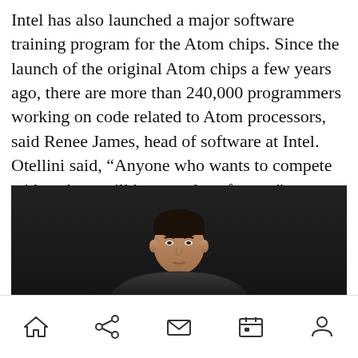Intel has also launched a major software training program for the Atom chips. Since the launch of the original Atom chips a few years ago, there are more than 240,000 programmers working on code related to Atom processors, said Renee James, head of software at Intel. Otellini said, “Anyone who wants to compete with us here will have to do software.”
[Figure (photo): Photo of a man (likely Otellini) standing in front of a dark background, wearing a suit, partially visible from the torso up.]